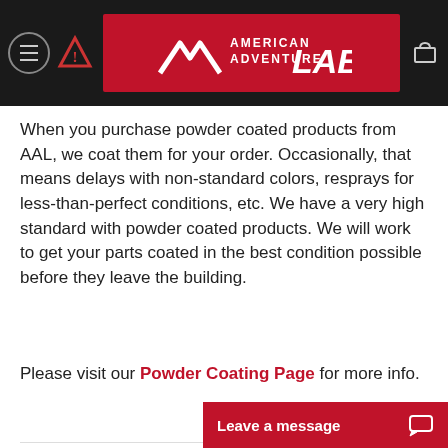American Adventure Lab
When you purchase powder coated products from AAL, we coat them for your order. Occasionally, that means delays with non-standard colors, resprays for less-than-perfect conditions, etc. We have a very high standard with powder coated products. We will work to get your parts coated in the best condition possible before they leave the building.
Please visit our Powder Coating Page for more info.
Large Fridge Capable